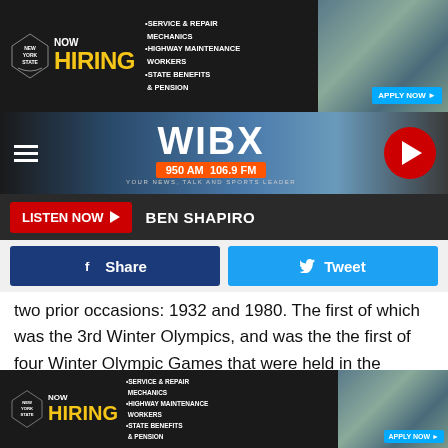[Figure (screenshot): New York State Now Hiring advertisement banner with yellow NOW HIRING text, bullet points for Service & Repair Mechanics, Highway Maintenance Workers, State Benefits & Pension, and Apply Now button]
[Figure (logo): WIBX 950 AM 106.9 FM radio station navigation bar with hamburger menu, station logo, frequency badge, tagline YOUR NEWS TALK AND SPORTS LEADER, and red play button]
LISTEN NOW   BEN SHAPIRO
Share   Tweet
two prior occasions: 1932 and 1980. The first of which was the 3rd Winter Olympics, and was the the first of four Winter Olympic Games that were held in the United States.
The 1980 Winter Olympics would also be held in Lake Placid, and would happen amidst extreme chaos and tension at an international level. The United States and the Soviet Union were involved in The Cold War, and the Olympiad became a
[Figure (screenshot): New York State Now Hiring advertisement banner at bottom of page]